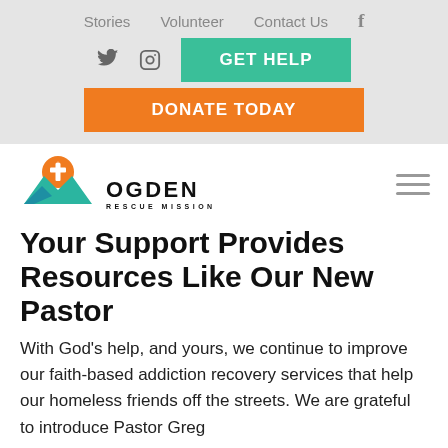Stories   Volunteer   Contact Us   f
GET HELP
DONATE TODAY
[Figure (logo): Ogden Rescue Mission logo with mountain and sun graphic, text reads OGDEN RESCUE MISSION]
Your Support Provides Resources Like Our New Pastor
With God’s help, and yours, we continue to improve our faith-based addiction recovery services that help our homeless friends off the streets. We are grateful to introduce Pastor Greg